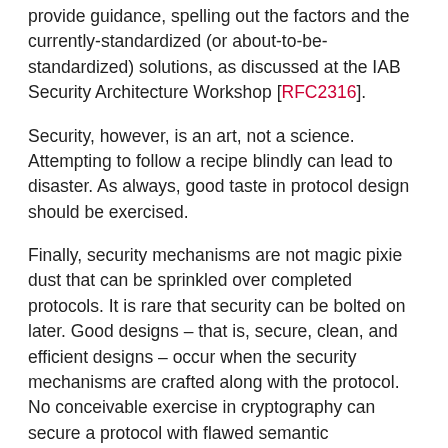provide guidance, spelling out the factors and the currently-standardized (or about-to-be-standardized) solutions, as discussed at the IAB Security Architecture Workshop [RFC2316].
Security, however, is an art, not a science. Attempting to follow a recipe blindly can lead to disaster. As always, good taste in protocol design should be exercised.
Finally, security mechanisms are not magic pixie dust that can be sprinkled over completed protocols. It is rare that security can be bolted on later. Good designs – that is, secure, clean, and efficient designs – occur when the security mechanisms are crafted along with the protocol. No conceivable exercise in cryptography can secure a protocol with flawed semantic assumptions.
2. Decision Factors
2.1. Threat Model